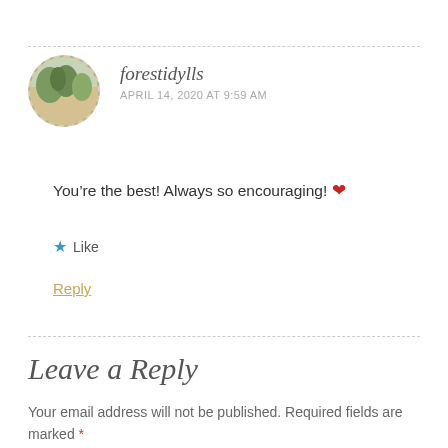[Figure (photo): Circular avatar photo of user forestidylls with a dashed border, showing a nature/plant scene]
forestidylls
APRIL 14, 2020 AT 9:59 AM
You’re the best! Always so encouraging! ❤
★ Like
Reply
Leave a Reply
Your email address will not be published. Required fields are marked *